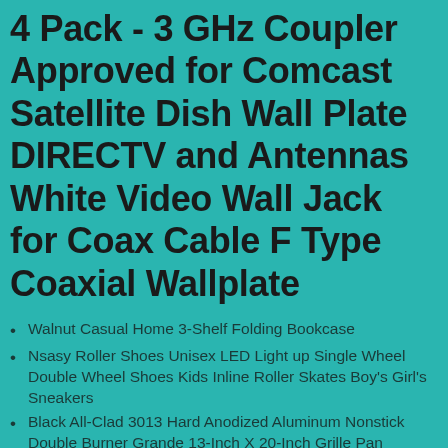4 Pack - 3 GHz Coupler Approved for Comcast Satellite Dish Wall Plate DIRECTV and Antennas White Video Wall Jack for Coax Cable F Type Coaxial Wallplate
Walnut Casual Home 3-Shelf Folding Bookcase
Nsasy Roller Shoes Unisex LED Light up Single Wheel Double Wheel Shoes Kids Inline Roller Skates Boy's Girl's Sneakers
Black All-Clad 3013 Hard Anodized Aluminum Nonstick Double Burner Grande 13-Inch X 20-Inch Grille Pan Specialty Cookware 20-Inch
GAT Amore 10 to 8 Cup Stove Top Italian Espresso Coffee Maker Pot Induction
Football Goal Post Net Soccer Goal Net Multi-Size Soccer Net Sports Replacement Football Soccer Goal Net Replacement